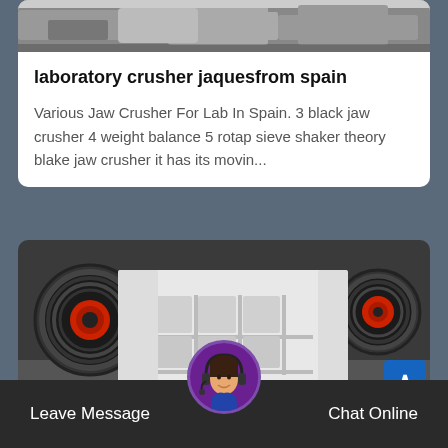[Figure (photo): Top portion of industrial machinery (partial image at top of card)]
laboratory crusher jaquesfrom spain
Various Jaw Crusher For Lab In Spain. 3 black jaw crusher 4 weight balance 5 rotap sieve shaker theory blake jaw crusher it has its movin...
[Figure (photo): Industrial jaw crusher machine — white body with black and red belt pulleys on left and right, rectangular grid structure in the center]
Leave Message   Chat Online